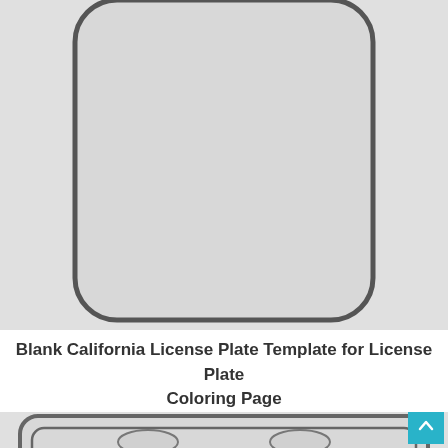[Figure (illustration): A blank vertical California license plate template outline with rounded corners, shown on a light gray background. The plate shape has a thick dark rounded-rectangle border on a light gray fill.]
Blank California License Plate Template for License Plate Coloring Page
[Figure (illustration): A blank horizontal California license plate template outline with rounded corners and two oval bolt holes at top, partially visible at the bottom of the page.]